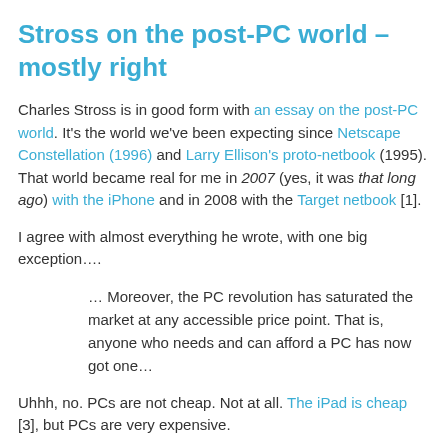Stross on the post-PC world – mostly right
Charles Stross is in good form with an essay on the post-PC world. It's the world we've been expecting since Netscape Constellation (1996) and Larry Ellison's proto-netbook (1995). That world became real for me in 2007 (yes, it was that long ago) with the iPhone and in 2008 with the Target netbook [1].
I agree with almost everything he wrote, with one big exception….
… Moreover, the PC revolution has saturated the market at any accessible price point. That is, anyone who needs and can afford a PC has now got one…
Uhhh, no. PCs are not cheap. Not at all. The iPad is cheap [3], but PCs are very expensive.